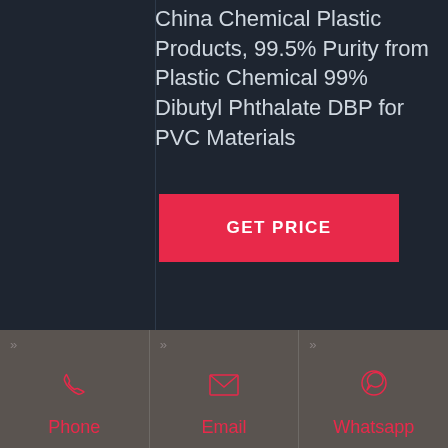China Chemical Plastic Products, 99.5% Purity from Plastic Chemical 99% Dibutyl Phthalate DBP for PVC Materials
GET PRICE
Phone
Email
Whatsapp